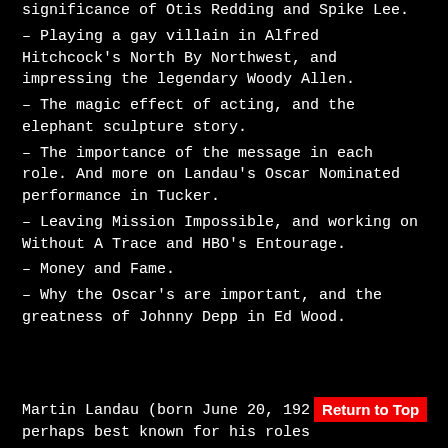significance of Otis Redding and Spike Lee.
– Playing a gay villain in Alfred Hitchcock's North By Northwest, and impressing the legendary Woody Allen.
– The magic effect of acting, and the elephant sculpture story.
– The importance of the message in each role. And more on Landau's Oscar Nominated performance in Tucker.
– Leaving Mission Impossible, and working on Without A Trace and HBO's Entourage.
– Money and Fame.
– Why the Oscar's are important, and the greatness of Johnny Depp in Ed Wood.
Martin Landau (born June 20, 192… perhaps best known for his roles…